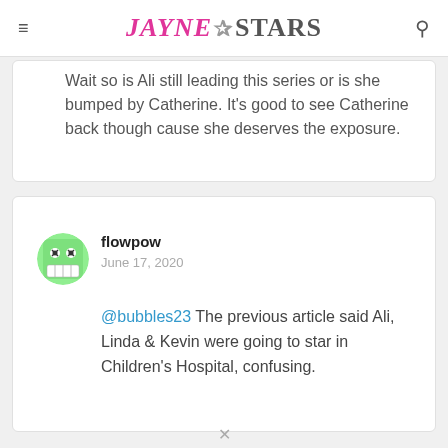JAYNE STARS
Wait so is Ali still leading this series or is she bumped by Catherine. It’s good to see Catherine back though cause she deserves the exposure.
flowpow
June 17, 2020
@bubbles23 The previous article said Ali, Linda & Kevin were going to star in Children’s Hospital, confusing.